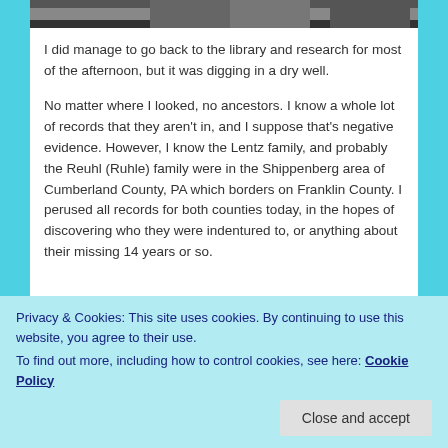[Figure (photo): Partial view of a photograph at the top of the page, showing a dark outdoor scene with some architectural elements.]
I did manage to go back to the library and research for most of the afternoon, but it was digging in a dry well.
No matter where I looked, no ancestors. I know a whole lot of records that they aren't in, and I suppose that's negative evidence. However, I know the Lentz family, and probably the Reuhl (Ruhle) family were in the Shippenberg area of Cumberland County, PA which borders on Franklin County. I perused all records for both counties today, in the hopes of discovering who they were indentured to, or anything about their missing 14 years or so.
Privacy & Cookies: This site uses cookies. By continuing to use this website, you agree to their use.
To find out more, including how to control cookies, see here: Cookie Policy